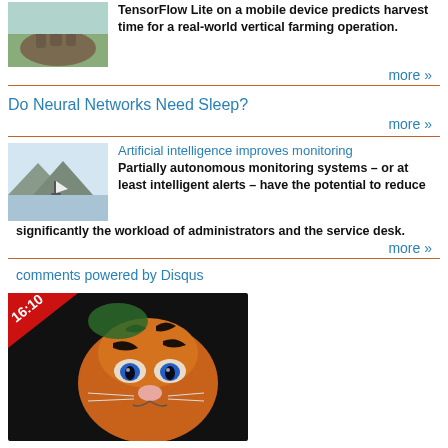[Figure (photo): Photo of elephants on a rock]
TensorFlow Lite on a mobile device predicts harvest time for a real-world vertical farming operation.
more »
Do Neural Networks Need Sleep?
more »
[Figure (photo): Photo of a sailboat on calm water at sunset]
Artificial intelligence improves monitoring
Partially autonomous monitoring systems – or at least intelligent alerts – have the potential to reduce significantly the workload of administrators and the service desk.
more »
comments powered by Disqus
[Figure (photo): Tiger face close-up on dark background with 16:10 badge]